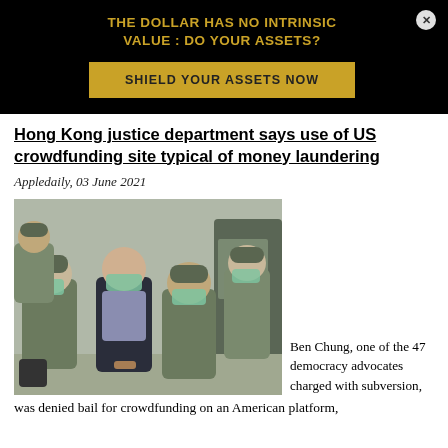[Figure (other): Advertisement banner: black background with gold text headline 'THE DOLLAR HAS NO INTRINSIC VALUE : DO YOUR ASSETS?' and a gold button 'SHIELD YOUR ASSETS NOW' with a close (x) button in the top right corner.]
Hong Kong justice department says use of US crowdfunding site typical of money laundering
Appledaily, 03 June 2021
[Figure (photo): Photo of Ben Chung, one of the 47 democracy advocates charged with subversion, being escorted by several correctional officers in military-style green uniforms. The individuals in the photo are wearing surgical masks. Ben Chung is in a dark jacket and light-colored shirt.]
Ben Chung, one of the 47 democracy advocates charged with subversion, was denied bail for crowdfunding on an American platform,